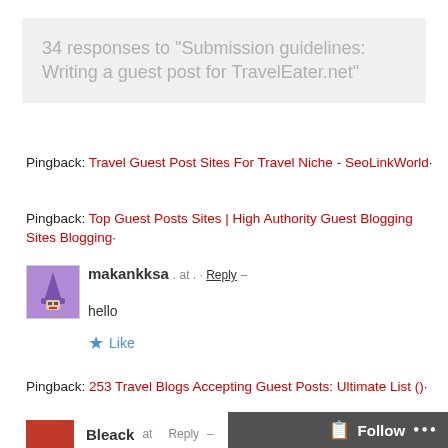34 responses to “Submission guidelines: Writing a guest post for TravelEater.net”
Pingback: Travel Guest Post Sites For Travel Niche - SeoLinkWorld·
Pingback: Top Guest Posts Sites | High Authority Guest Blogging Sites Blogging·
makankksa . at . · Reply –
hello
★ Like
Pingback: 253 Travel Blogs Accepting Guest Posts: Ultimate List ()·
Bleack at Reply –